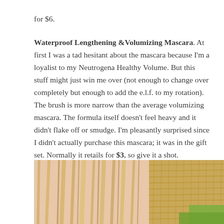for $6.
Waterproof Lengthening &Volumizing Mascara. At first I was a tad hesitant about the mascara because I'm a loyalist to my Neutrogena Healthy Volume. But this stuff might just win me over (not enough to change over completely but enough to add the e.l.f. to my rotation). The brush is more narrow than the average volumizing mascara. The formula itself doesn't feel heavy and it didn't flake off or smudge. I'm pleasantly surprised since I didn't actually purchase this mascara; it was in the gift set. Normally it retails for $3, so give it a shot.
[Figure (photo): Photo showing blonde hair and a woven/straw hat with green grass visible, outdoor setting]